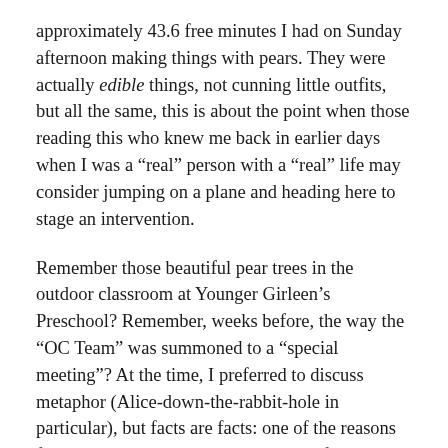approximately 43.6 free minutes I had on Sunday afternoon making things with pears. They were actually edible things, not cunning little outfits, but all the same, this is about the point when those reading this who knew me back in earlier days when I was a “real” person with a “real” life may consider jumping on a plane and heading here to stage an intervention.
Remember those beautiful pear trees in the outdoor classroom at Younger Girleen’s Preschool? Remember, weeks before, the way the “OC Team” was summoned to a “special meeting”? At the time, I preferred to discuss metaphor (Alice-down-the-rabbit-hole in particular), but facts are facts: one of the reasons for the special meeting was that pears from the pear tree were falling on the ground and the OC Team was not picking them up on a regular basis.